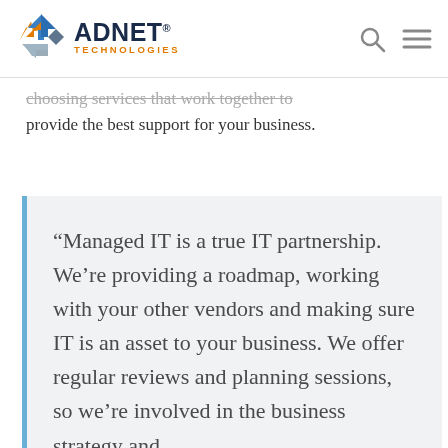ADNET TECHNOLOGIES
choosing services that work together to provide the best support for your business.
“Managed IT is a true IT partnership. We’re providing a roadmap, working with your other vendors and making sure IT is an asset to your business. We offer regular reviews and planning sessions, so we’re involved in the business strategy and